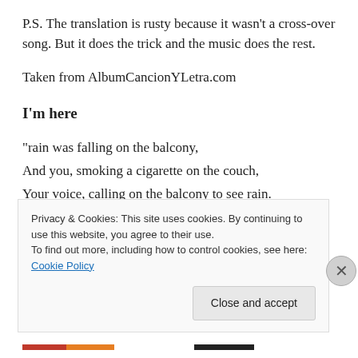P.S. The translation is rusty because it wasn't a cross-over song. But it does the trick and the music does the rest.
Taken from AlbumCancionYLetra.com
I'm here
“rain was falling on the balcony,
And you, smoking a cigarette on the couch,
Your voice, calling on the balcony to see rain.

They were my hands from the strings to the paper,
Also, your eyes from my face to the wall.
Privacy & Cookies: This site uses cookies. By continuing to use this website, you agree to their use.
To find out more, including how to control cookies, see here: Cookie Policy